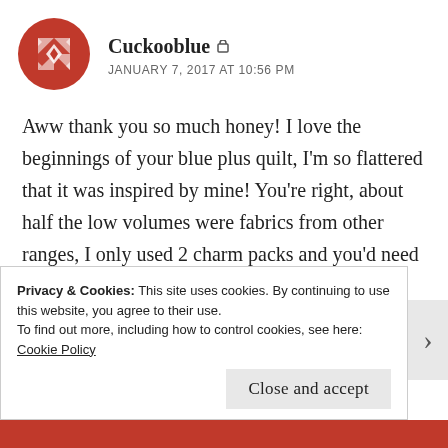[Figure (logo): Red geometric quilt-pattern avatar icon for user Cuckooblue]
Cuckooblue ▲
JANUARY 7, 2017 AT 10:56 PM
Aww thank you so much honey! I love the beginnings of your blue plus quilt, I'm so flattered that it was inspired by mine! You're right, about half the low volumes were fabrics from other ranges, I only used 2 charm packs and you'd need 4 to make it all zen chic. I love that there are a couple of fabrics from one of my very first quilting fabric purchases in there! I guess that's
Privacy & Cookies: This site uses cookies. By continuing to use this website, you agree to their use.
To find out more, including how to control cookies, see here: Cookie Policy
Close and accept